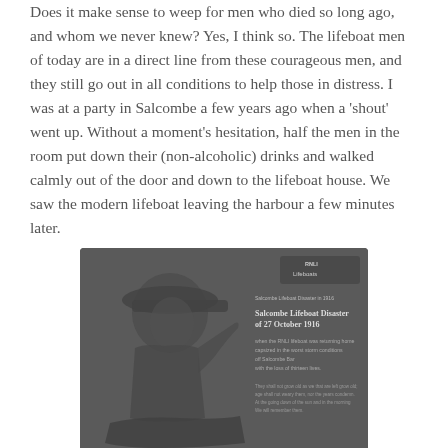Does it make sense to weep for men who died so long ago, and whom we never knew? Yes, I think so. The lifeboat men of today are in a direct line from these courageous men, and they still go out in all conditions to help those in distress. I was at a party in Salcombe a few years ago when a 'shout' went up. Without a moment's hesitation, half the men in the room put down their (non-alcoholic) drinks and walked calmly out of the door and down to the lifeboat house. We saw the modern lifeboat leaving the harbour a few minutes later.
[Figure (photo): A dark grey commemorative plaque showing a relief carving of a lifeboat man in a sou'wester hat, with text reading 'Salcombe Lifeboat Disaster of 27 October 1916' and further descriptive text below, with an RNLI Lifeboats logo in the top right corner.]